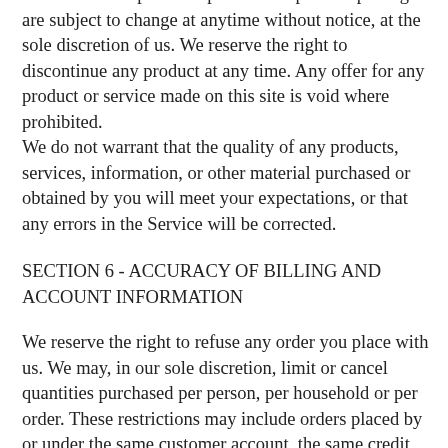offer. All descriptions of products or product pricing are subject to change at anytime without notice, at the sole discretion of us. We reserve the right to discontinue any product at any time. Any offer for any product or service made on this site is void where prohibited.
We do not warrant that the quality of any products, services, information, or other material purchased or obtained by you will meet your expectations, or that any errors in the Service will be corrected.
SECTION 6 - ACCURACY OF BILLING AND ACCOUNT INFORMATION
We reserve the right to refuse any order you place with us. We may, in our sole discretion, limit or cancel quantities purchased per person, per household or per order. These restrictions may include orders placed by or under the same customer account, the same credit card, and/or orders that use the same billing and/or shipping address. In the event that we make a change to or cancel an order, we may attempt to notify you by contacting the e-mail